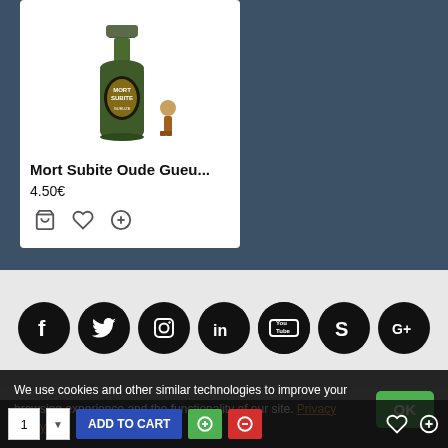[Figure (screenshot): Product card showing a champagne bottle (Mort Subite Oude Gueu...) with a small figurine, price 4.50€, and action icons (cart, wishlist, compare)]
Mort Subite Oude Gueu...
4.50€
[Figure (infographic): Row of 7 social media icons (Facebook, Twitter, Instagram, LinkedIn, YouTube, Skype, Google+) as white icons on black circles]
We use cookies and other similar technologies to improve your browsing experience and the functionality of our site. Privacy Policy.
OK